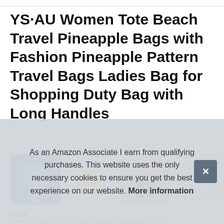YS·AU Women Tote Beach Travel Pineapple Bags with Fashion Pineapple Pattern Travel Bags Ladies Bag for Shopping Duty Bag with Long Handles
#ad
[Figure (photo): Four product images in a row: Cyber Monday Sale promotional image with a tote bag, yellow striped tote bag, woman in white t-shirt and jeans, person near grey door]
YS·A
cosmetics and so on. Even shopping groceries, such as
As an Amazon Associate I earn from qualifying purchases. This website uses the only necessary cookies to ensure you get the best experience on our website. More information